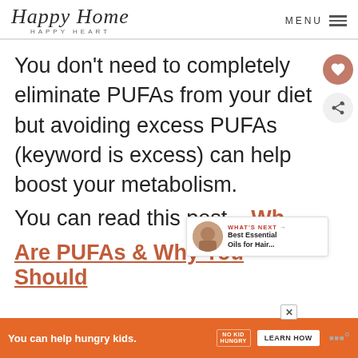Happy Home Happy Heart | MENU
You don't need to completely eliminate PUFAs from your diet but avoiding excess PUFAs (keyword is excess) can help boost your metabolism.
You can read this post – What Are PUFAs & Why You Should
[Figure (infographic): What's Next overlay showing Best Essential Oils for Hair... with circular thumbnail image]
[Figure (infographic): Orange advertisement banner: You can help hungry kids. No Kid Hungry. Learn How button. With close X button.]